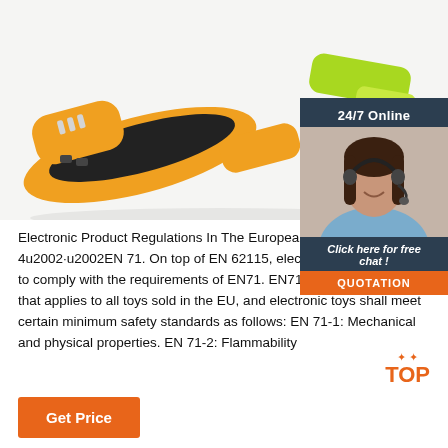[Figure (photo): Product photo of colorful wristbands/fitness trackers — orange/black band and yellow-green band on white background]
[Figure (infographic): 24/7 Online chat widget with photo of female customer service agent wearing headset, 'Click here for free chat!' text, and orange QUOTATION button]
Electronic Product Regulations In The European Union 2020-2-4u2002·u2002EN 71. On top of EN 62115, electronic toys also need to comply with the requirements of EN71. EN71 is a set of standards that applies to all toys sold in the EU, and electronic toys shall meet certain minimum safety standards as follows: EN 71-1: Mechanical and physical properties. EN 71-2: Flammability
[Figure (infographic): Orange TOP badge with sparkle decoration]
Get Price